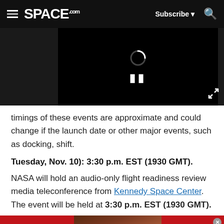SPACE.com — Subscribe — Search
[Figure (screenshot): Video player showing a loading spinner and pause button on black background]
timings of these events are approximate and could change if the launch date or other major events, such as docking, shift.
Tuesday,  Nov. 10): 3:30 p.m. EST (1930 GMT).
NASA will hold an audio-only flight readiness review media teleconference from Kennedy Space Center. The event will be held at 3:30 p.m. EST (1930 GMT).
[Figure (photo): Advertisement banner: KISS BORING LIPS GOODBYE — Macy's SHOP NOW — featuring a woman's face with red lips]